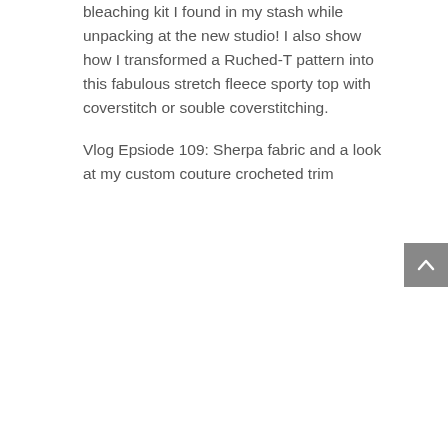bleaching kit I found in my stash while unpacking at the new studio!  I also show how I transformed a Ruched-T pattern into this fabulous stretch fleece sporty top with coverstitch or souble coverstitching.
Vlog Epsiode 109: Sherpa fabric and a look at my custom couture crocheted trim